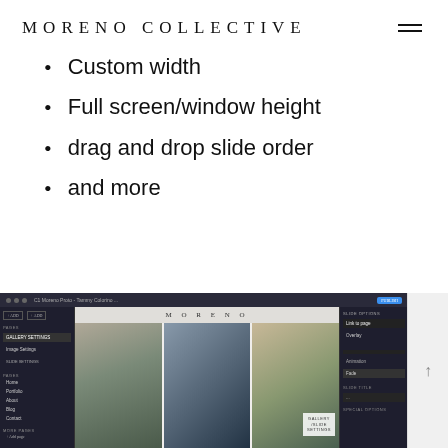MORENO COLLECTIVE
Custom width
Full screen/window height
drag and drop slide order
and more
[Figure (screenshot): Web editor screenshot showing the Moreno Collective website builder interface with a gallery of wedding photos and a 'Gallery Slide Settings' panel visible]